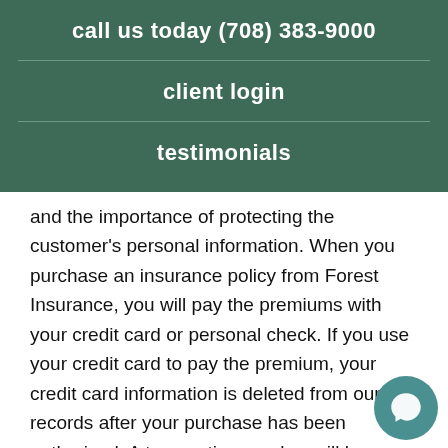call us today (708) 383-9000
client login
testimonials
and the importance of protecting the customer's personal information. When you purchase an insurance policy from Forest Insurance, you will pay the premiums with your credit card or personal check. If you use your credit card to pay the premium, your credit card information is deleted from our records after your purchase has been authorized. A transaction number will be provided to you on your Binder of Insurance may use this transaction number as a reference to the